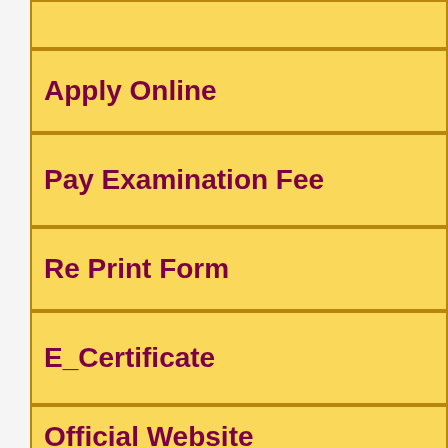Apply Online
Pay Examination Fee
Re Print Form
E_Certificate
Official Website